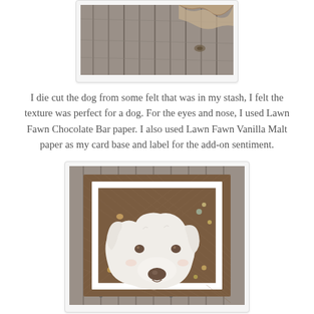[Figure (photo): Partial view of weathered gray wood planks/slab, showing natural wood grain and live edge at top]
I die cut the dog from some felt that was in my stash, I felt the texture was perfect for a dog. For the eyes and nose, I used Lawn Fawn Chocolate Bar paper. I also used Lawn Fawn Vanilla Malt paper as my card base and label for the add-on sentiment.
[Figure (photo): Handmade greeting card showing a white felt dog face (Labrador) die cut, on a brown patterned cardstock background with small decorative sequins/embellishments, placed on weathered gray wood background]